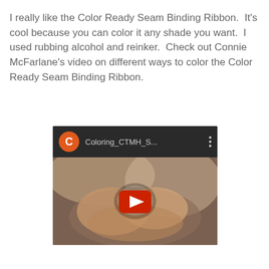I really like the Color Ready Seam Binding Ribbon.  It's cool because you can color it any shade you want.  I used rubbing alcohol and reinker.  Check out Connie McFarlane's video on different ways to color the Color Ready Seam Binding Ribbon.
[Figure (screenshot): YouTube video thumbnail showing hands holding a ribbon, with a red play button in the center. Top bar shows an orange channel icon with letter C, title 'Coloring_CTMH_S...' and a three-dot menu.]